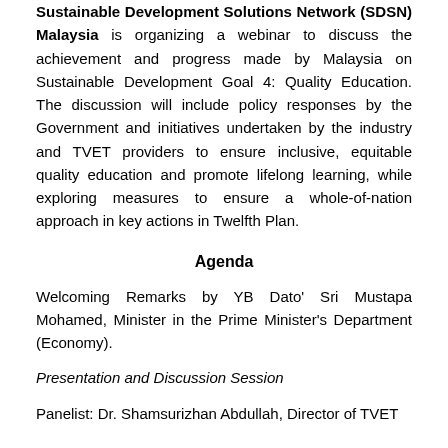Sachs Centre on Sustainable Development (SDG), Sustainable Development Solutions Network (SDSN) Malaysia is organizing a webinar to discuss the achievement and progress made by Malaysia on Sustainable Development Goal 4: Quality Education. The discussion will include policy responses by the Government and initiatives undertaken by the industry and TVET providers to ensure inclusive, equitable quality education and promote lifelong learning, while exploring measures to ensure a whole-of-nation approach in key actions in Twelfth Plan.
Agenda
Welcoming Remarks by YB Dato' Sri Mustapa Mohamed, Minister in the Prime Minister's Department (Economy).
Presentation and Discussion Session
Panelist: Dr. Shamsurizhan Abdullah, Director of TVET